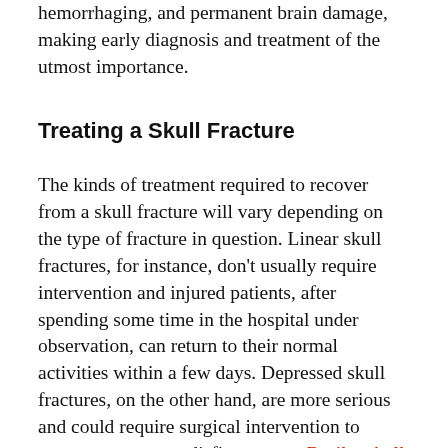hemorrhaging, and permanent brain damage, making early diagnosis and treatment of the utmost importance.
Treating a Skull Fracture
The kinds of treatment required to recover from a skull fracture will vary depending on the type of fracture in question. Linear skull fractures, for instance, don't usually require intervention and injured patients, after spending some time in the hospital under observation, can return to their normal activities within a few days. Depressed skull fractures, on the other hand, are more serious and could require surgical intervention to prevent permanent disfigurement. Basilar skull fractures are extremely serious and are often